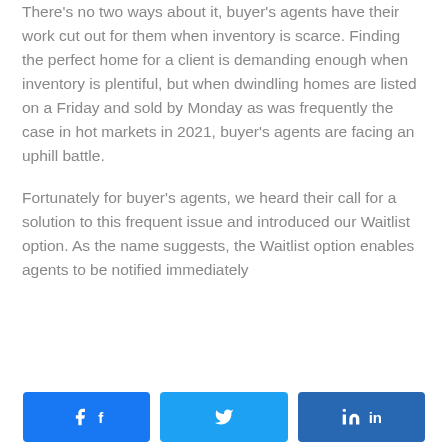There's no two ways about it, buyer's agents have their work cut out for them when inventory is scarce. Finding the perfect home for a client is demanding enough when inventory is plentiful, but when dwindling homes are listed on a Friday and sold by Monday as was frequently the case in hot markets in 2021, buyer's agents are facing an uphill battle.
Fortunately for buyer's agents, we heard their call for a solution to this frequent issue and introduced our Waitlist option. As the name suggests, the Waitlist option enables agents to be notified immediately
[Figure (infographic): Social sharing buttons: Facebook (blue), Twitter (light blue), LinkedIn (dark blue)]